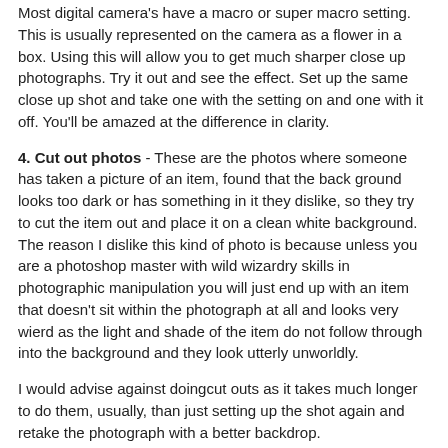Most digital camera's have a macro or super macro setting. This is usually represented on the camera as a flower in a box. Using this will allow you to get much sharper close up photographs. Try it out and see the effect. Set up the same close up shot and take one with the setting on and one with it off. You'll be amazed at the difference in clarity.
4. Cut out photos - These are the photos where someone has taken a picture of an item, found that the back ground looks too dark or has something in it they dislike, so they try to cut the item out and place it on a clean white background. The reason I dislike this kind of photo is because unless you are a photoshop master with wild wizardry skills in photographic manipulation you will just end up with an item that doesn't sit within the photograph at all and looks very wierd as the light and shade of the item do not follow through into the background and they look utterly unworldly.
I would advise against doingcut outs as it takes much longer to do them, usually, than just setting up the shot again and retake the photograph with a better backdrop.
5. Badly framed/cropped - When taking the main